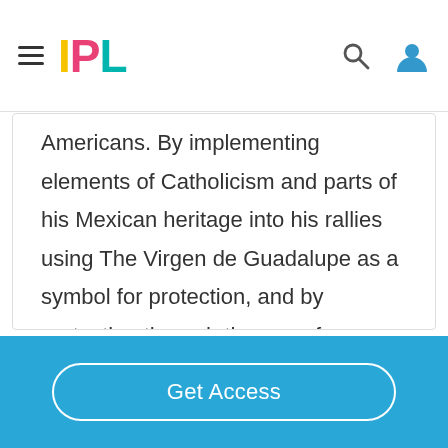IPL
Americans. By implementing elements of Catholicism and parts of his Mexican heritage into his rallies using The Virgen de Guadalupe as a symbol for protection, and by protesting through the use of nonviolence and self-sacrifice, Cesar Chavez managed to start a revolution in America to get first class citizenship for Mexican Americans
Get Access